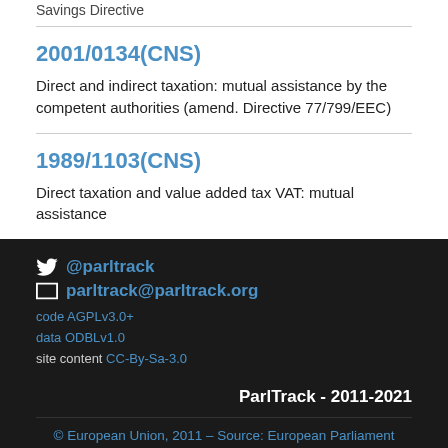Savings Directive
2001/0134(CNS)
Direct and indirect taxation: mutual assistance by the competent authorities (amend. Directive 77/799/EEC)
1989/1103(CNS)
Direct taxation and value added tax VAT: mutual assistance
@parltrack
parltrack@parltrack.org
code AGPLv3.0+
data ODBLv1.0
site content CC-By-Sa-3.0
ParlTrack - 2011-2021
© European Union, 2011 – Source: European Parliament